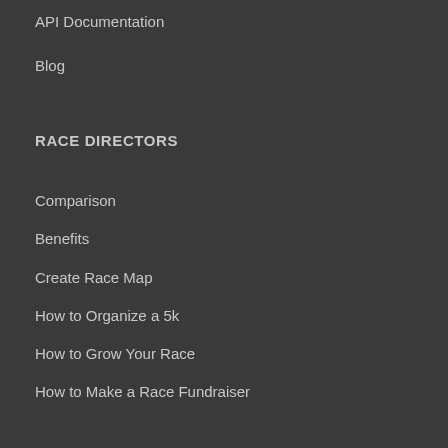API Documentation
Blog
RACE DIRECTORS
Comparison
Benefits
Create Race Map
How to Organize a 5k
How to Grow Your Race
How to Make a Race Fundraiser
Create Account
FAQs
Advertise Your Race
PARTICIPANTS
Race Calendar
Virtual Race Calendar
Find Races By State